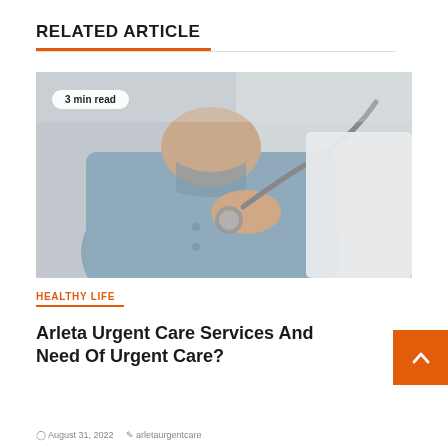RELATED ARTICLE
[Figure (photo): A doctor in a white coat using a stethoscope on an elderly male patient wearing a light blue shirt. The doctor's hand holds the stethoscope against the patient's chest. A badge overlay reads '3 min read'.]
HEALTHY LIFE
Arleta Urgent Care Services And Need Of Urgent Care?
August 31, 2022   arletaurgentcare